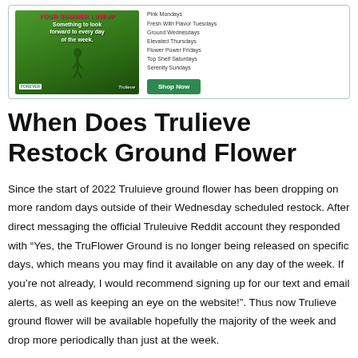[Figure (other): Trulieve cannabis dispensary advertisement showing a person walking on grass with text 'YOUR SUMMER LINEUP. Something to look forward to every day of the week.' and a list of daily deals including Pink Mondays, Fresh With Flavor Tuesdays, Ground Wednesdays, Elevated Thursdays, Flower Power Fridays, Top Shelf Saturdays, Serenity Sundays. A green Shop Now button is shown.]
When Does Trulieve Restock Ground Flower
Since the start of 2022 Truluieve ground flower has been dropping on more random days outside of their Wednesday scheduled restock. After direct messaging the official Truleuive Reddit account they responded with “Yes, the TruFlower Ground is no longer being released on specific days, which means you may find it available on any day of the week. If you’re not already, I would recommend signing up for our text and email alerts, as well as keeping an eye on the website!”. Thus now Trulieve ground flower will be available hopefully the majority of the week and drop more periodically than just at the week.